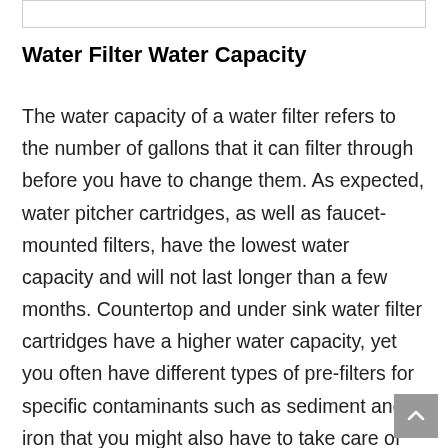Water Filter Water Capacity
The water capacity of a water filter refers to the number of gallons that it can filter through before you have to change them. As expected, water pitcher cartridges, as well as faucet-mounted filters, have the lowest water capacity and will not last longer than a few months. Countertop and under sink water filter cartridges have a higher water capacity, yet you often have different types of pre-filters for specific contaminants such as sediment and iron that you might also have to take care of more often than the regular filters. Wh...